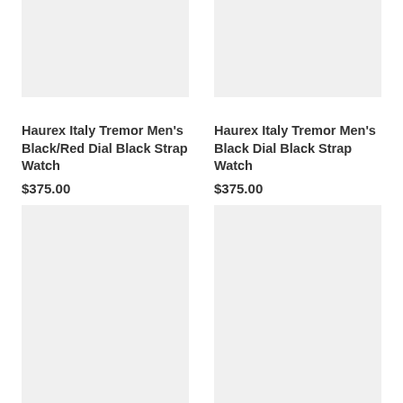[Figure (photo): Product image placeholder - light gray rectangle for Haurex Italy Tremor Men's Black/Red Dial Black Strap Watch]
Haurex Italy Tremor Men's Black/Red Dial Black Strap Watch
$375.00
[Figure (photo): Product image placeholder - light gray rectangle for Haurex Italy Tremor Men's Black Dial Black Strap Watch]
Haurex Italy Tremor Men's Black Dial Black Strap Watch
$375.00
[Figure (photo): Product image placeholder - light gray rectangle (bottom left)]
[Figure (photo): Product image placeholder - light gray rectangle (bottom right)]